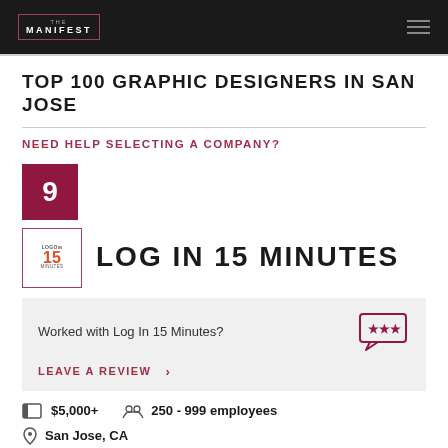[Figure (logo): The Manifest logo in top navigation bar]
TOP 100 GRAPHIC DESIGNERS IN SAN JOSE
NEED HELP SELECTING A COMPANY?
[Figure (other): Rank badge showing number 9 in dark red square]
[Figure (logo): Log In 15 Minutes company logo]
LOG IN 15 MINUTES
Worked with Log In 15 Minutes?
LEAVE A REVIEW >
$5,000+
250 - 999 employees
San Jose, CA